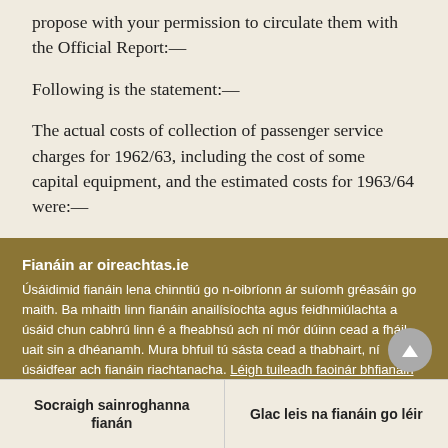propose with your permission to circulate them with the Official Report:—
Following is the statement:—
The actual costs of collection of passenger service charges for 1962/63, including the cost of some capital equipment, and the estimated costs for 1963/64 were:—
Fianáin ar oireachtas.ie
Úsáidimid fianáin lena chinntiú go n-oibríonn ár suíomh gréasáin go maith. Ba mhaith linn fianáin anailísíochta agus feidhmiúlachta a úsáid chun cabhrú linn é a fheabhsú ach ní mór dúinn cead a fháil uait sin a dhéanamh. Mura bhfuil tú sásta cead a thabhairt, ní úsáidfear ach fianáin riachtanacha. Léigh tuileadh faoinár bhfianáin
Socraigh sainroghanna fianán
Glac leis na fianáin go léir